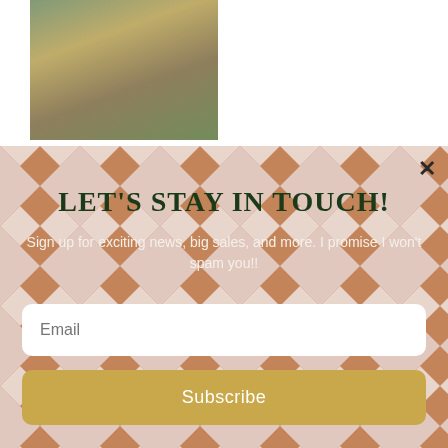[Figure (photo): Photo of people in Halloween costumes outdoors in a field]
Halloween Costumes 2011
October 24, 2011
In "DIY"
[Figure (infographic): Newsletter subscription popup with argyle/plaid pattern background. Contains title 'LET'S STAY IN TOUCH!', subtitle text, email input field, and Subscribe button.]
LET'S STAY IN TOUCH!
Sign up for exciting news, big sales, and more. I promise I won't spam you!!
Email
Subscribe